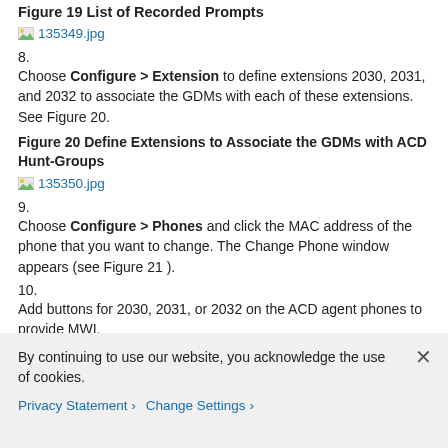Figure 19 List of Recorded Prompts
[Figure (screenshot): Image link placeholder: 135349.jpg]
8.
Choose Configure > Extension to define extensions 2030, 2031, and 2032 to associate the GDMs with each of these extensions. See Figure 20.
Figure 20 Define Extensions to Associate the GDMs with ACD Hunt-Groups
[Figure (screenshot): Image link placeholder: 135350.jpg]
9.
Choose Configure > Phones and click the MAC address of the phone that you want to change. The Change Phone window appears (see Figure 21 ).
10.
Add buttons for 2030, 2031, or 2032 on the ACD agent phones to provide MWI.
Figure 21 Window Illustrating Adding Buttons
By continuing to use our website, you acknowledge the use of cookies.
Privacy Statement › Change Settings ›